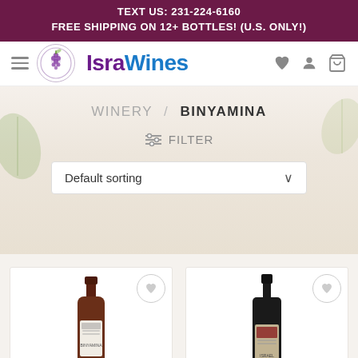TEXT US: 231-224-6160
FREE SHIPPING ON 12+ BOTTLES! (U.S. ONLY!)
[Figure (logo): IsraWines logo with hamburger menu, circular logo icon, brand name 'IsraWines' in purple/blue, heart icon, user icon, and basket icon]
WINERY / BINYAMINA
≡ FILTER
Default sorting ∨
[Figure (photo): Two wine bottle product cards side by side. Left: Binyamina wine bottle with light label. Right: dark bottle with dark label. Each card has a heart wishlist button in top right corner.]